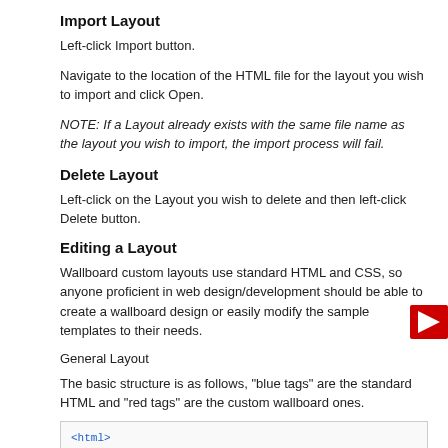Import Layout
Left-click Import button.
Navigate to the location of the HTML file for the layout you wish to import and click Open.
NOTE: If a Layout already exists with the same file name as the layout you wish to import, the import process will fail.
Delete Layout
Left-click on the Layout you wish to delete and then left-click Delete button.
Editing a Layout
Wallboard custom layouts use standard HTML and CSS, so anyone proficient in web design/development should be able to create a wallboard design or easily modify the sample templates to their needs.
General Layout
The basic structure is as follows, "blue tags" are the standard HTML and "red tags" are the custom wallboard ones.
[Figure (screenshot): Code box showing HTML structure with blue and red tags: <html>, <head>, </head>, <body>, <CallCenters>, <CallCenter>]